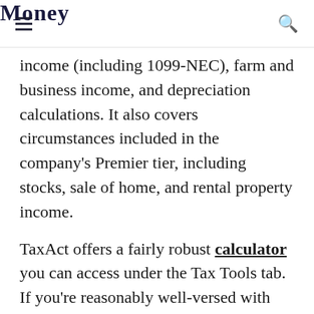Money
income (including 1099-NEC), farm and business income, and depreciation calculations. It also covers circumstances included in the company's Premier tier, including stocks, sale of home, and rental property income.
TaxAct offers a fairly robust calculator you can access under the Tax Tools tab. If you're reasonably well-versed with the terminology, you can play around with the tool to get a ballpark idea of your estimated taxes without committing to anything.